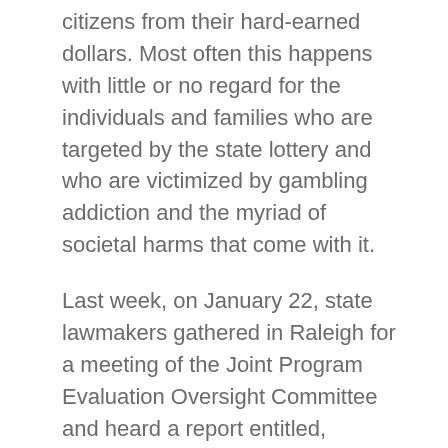citizens from their hard-earned dollars. Most often this happens with little or no regard for the individuals and families who are targeted by the state lottery and who are victimized by gambling addiction and the myriad of societal harms that come with it.
Last week, on January 22, state lawmakers gathered in Raleigh for a meeting of the Joint Program Evaluation Oversight Committee and heard a report entitled, “Options Exist for Increasing Lottery Proceeds for Education.” The report, presented by the Legislature’s Program Evaluation Division (PED), explored “whether the North Carolina State Lottery is providing the maximum benefit to the State by examining its operations, existing revenue-generating strategies, and efforts to reduce costs”